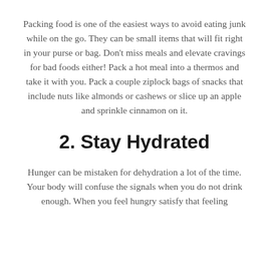Packing food is one of the easiest ways to avoid eating junk while on the go. They can be small items that will fit right in your purse or bag. Don't miss meals and elevate cravings for bad foods either! Pack a hot meal into a thermos and take it with you. Pack a couple ziplock bags of snacks that include nuts like almonds or cashews or slice up an apple and sprinkle cinnamon on it.
2. Stay Hydrated
Hunger can be mistaken for dehydration a lot of the time. Your body will confuse the signals when you do not drink enough. When you feel hungry satisfy that feeling